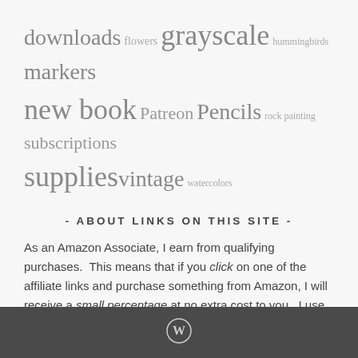downloads flowers grayscale hummingbirds markers new book Patreon Pencils rock painting subscriptions supplies vintage watercolors
- ABOUT LINKS ON THIS SITE -
As an Amazon Associate, I earn from qualifying purchases. This means that if you click on one of the affiliate links and purchase something from Amazon, I will receive a small percentage at no extra cost to you. I use this to help offset some of the costs of running this site.
[Figure (logo): WordPress logo icon in white on dark gray footer bar]